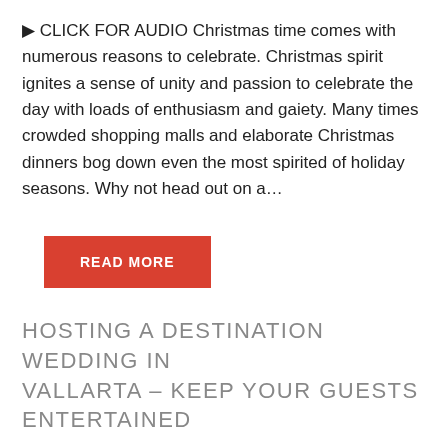▶ CLICK FOR AUDIO Christmas time comes with numerous reasons to celebrate. Christmas spirit ignites a sense of unity and passion to celebrate the day with loads of enthusiasm and gaiety. Many times crowded shopping malls and elaborate Christmas dinners bog down even the most spirited of holiday seasons. Why not head out on a…
READ MORE
HOSTING A DESTINATION WEDDING IN VALLARTA – KEEP YOUR GUESTS ENTERTAINED
▶ CLICK FOR AUDIO If you're planning to host your destination wedding in Puerto Vallarta, surely your wedding fiesta will be an unforgettable event for all involved. Consider yourself lucky to exchange your vows amid the lush green surroundings and